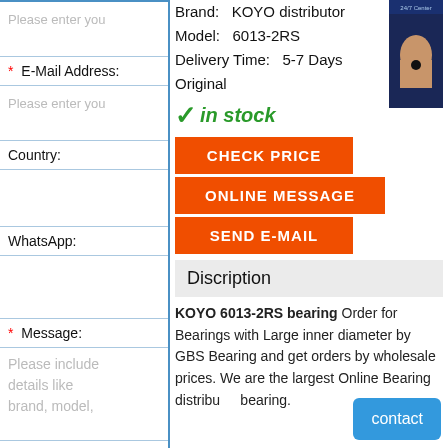Please enter you
* E-Mail Address:
Please enter you
Country:
WhatsApp:
* Message:
Please include details like brand, model,
Brand: KOYO distributor
Model: 6013-2RS
Delivery Time: 5-7 Days
Original
✓in stock
CHECK PRICE
ONLINE MESSAGE
SEND E-MAIL
Discription
KOYO 6013-2RS bearing Order for Bearings with Large inner diameter by GBS Bearing and get orders by wholesale prices. We are the largest Online Bearing distributor bearing.
contact